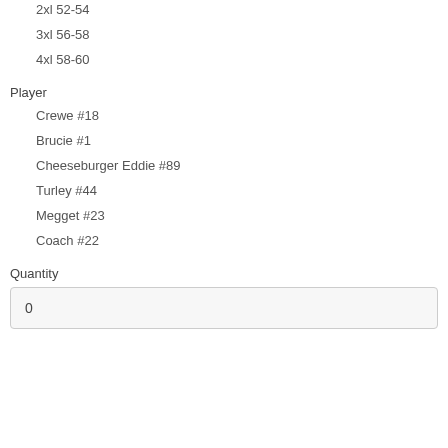2xl 52-54
3xl 56-58
4xl 58-60
Player
Crewe #18
Brucie #1
Cheeseburger Eddie #89
Turley #44
Megget #23
Coach #22
Quantity
0